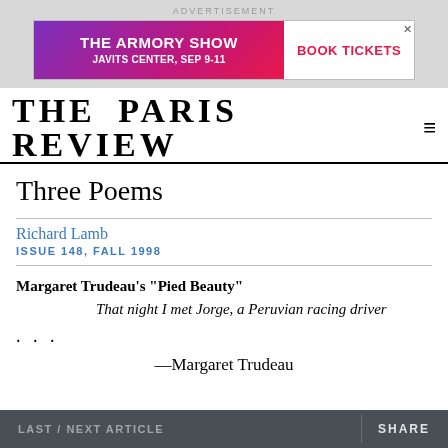[Figure (other): Advertisement banner for The Armory Show at Javits Center, Sep 9-11, with a Book Tickets button on white background and a purple-to-red gradient left section.]
THE PARIS REVIEW
Three Poems
Richard Lamb
ISSUE 148, FALL 1998
Margaret Trudeau's "Pied Beauty"
That night I met Jorge, a Peruvian racing driver
. . .
—Margaret Trudeau
LAST / NEXT ARTICLE    SHARE